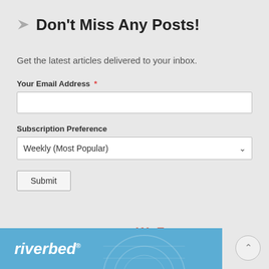Don't Miss Any Posts!
Get the latest articles delivered to your inbox.
Your Email Address *
Subscription Preference
Weekly (Most Popular)
Submit
Powered by WUFOO by SurveyMonkey
[Figure (logo): Riverbed brand banner in blue with white italic text and globe watermark]